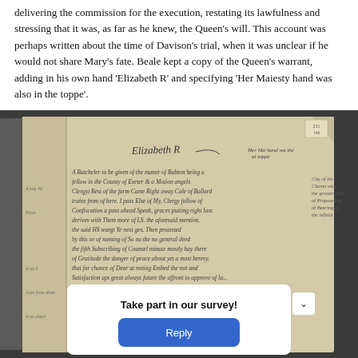delivering the commission for the execution, restating its lawfulness and stressing that it was, as far as he knew, the Queen's will. This account was perhaps written about the time of Davison's trial, when it was unclear if he would not share Mary's fate. Beale kept a copy of the Queen's warrant, adding in his own hand 'Elizabeth R' and specifying 'Her Maiesty hand was also in the toppe'.
[Figure (photo): A photograph of an open historical manuscript book showing handwritten text in early modern English script, with 'Elizabeth R' visible at the top. The pages are aged and yellowed.]
Take part in our survey!
Reply